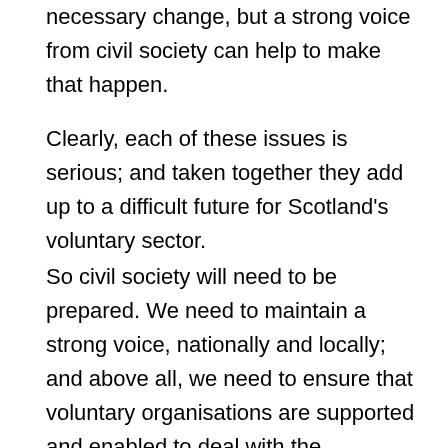necessary change, but a strong voice from civil society can help to make that happen.
Clearly, each of these issues is serious; and taken together they add up to a difficult future for Scotland's voluntary sector.
So civil society will need to be prepared. We need to maintain a strong voice, nationally and locally; and above all, we need to ensure that voluntary organisations are supported and enabled to deal with the difficulties ahead; and continue to deliver for the people they serve.